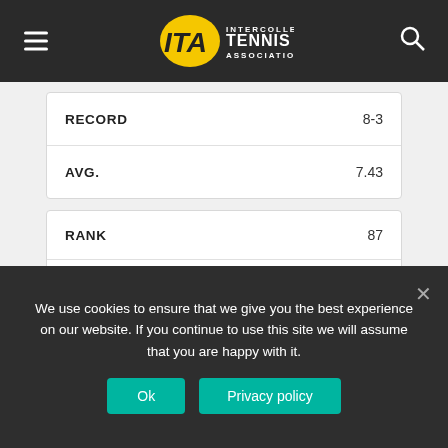ITA - Intercollegiate Tennis Association
| FIELD | VALUE |
| --- | --- |
| RECORD | 8-3 |
| AVG. | 7.43 |
| FIELD | VALUE |
| --- | --- |
| RANK | 87 |
| PLAYER | Siddhant Banthia |
| PLAYER | Matthew Thomson |
| SCHOOL | Wake Forest University |
| RECORD |  |
We use cookies to ensure that we give you the best experience on our website. If you continue to use this site we will assume that you are happy with it.